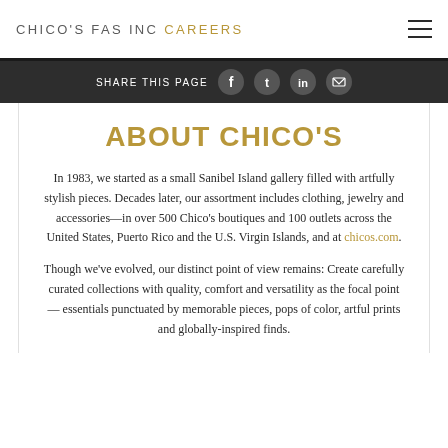CHICO'S FAS INC CAREERS
SHARE THIS PAGE
ABOUT CHICO'S
In 1983, we started as a small Sanibel Island gallery filled with artfully stylish pieces. Decades later, our assortment includes clothing, jewelry and accessories—in over 500 Chico's boutiques and 100 outlets across the United States, Puerto Rico and the U.S. Virgin Islands, and at chicos.com.
Though we've evolved, our distinct point of view remains: Create carefully curated collections with quality, comfort and versatility as the focal point — essentials punctuated by memorable pieces, pops of color, artful prints and globally-inspired finds.